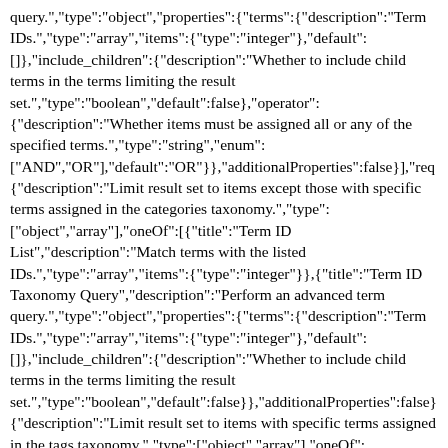query.","type":"object","properties":{"terms":{"description":"Term IDs.","type":"array","items":{"type":"integer"},"default": []},"include_children":{"description":"Whether to include child terms in the terms limiting the result set.","type":"boolean","default":false},"operator": {"description":"Whether items must be assigned all or any of the specified terms.","type":"string","enum": ["AND","OR"],"default":"OR"}},"additionalProperties":false}],"req {"description":"Limit result set to items except those with specific terms assigned in the categories taxonomy.","type": ["object","array"],"oneOf":[{"title":"Term ID List","description":"Match terms with the listed IDs.","type":"array","items":{"type":"integer"}},{"title":"Term ID Taxonomy Query","description":"Perform an advanced term query.","type":"object","properties":{"terms":{"description":"Term IDs.","type":"array","items":{"type":"integer"},"default": []},"include_children":{"description":"Whether to include child terms in the terms limiting the result set.","type":"boolean","default":false}},"additionalProperties":false} {"description":"Limit result set to items with specific terms assigned in the tags taxonomy.","type":["object","array"],"oneOf": [{"title":"Term ID List","description":"Match terms with the listed IDs.","type":"array","items":{"type":"integer"}},{"title":"Term ID Taxonomy Query","description":"Perform an advanced term query.","type":"object","properties":{"terms":{"description":"Term